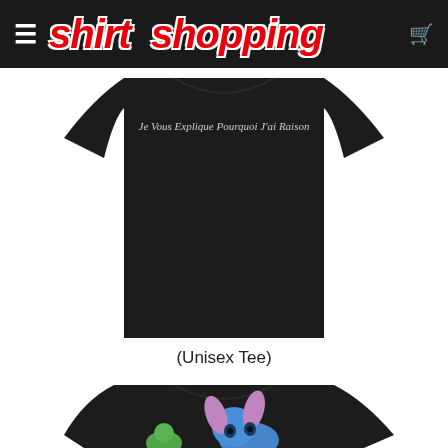[Figure (screenshot): Website header bar for 'shirt shopping' e-commerce site with hamburger menu icon on left, red bold italic logo text 'shirt shopping' in center, and cart icon on right, all on black background]
[Figure (photo): Close-up of a black unisex t-shirt with white italic text reading 'Je Vous Explique Pourquoi J'ai Raison']
(Unisex Tee)
[Figure (photo): Black t-shirt showing cartoon characters: a small green turtle/dinosaur character and Stitch from Lilo & Stitch, with pink ears visible]